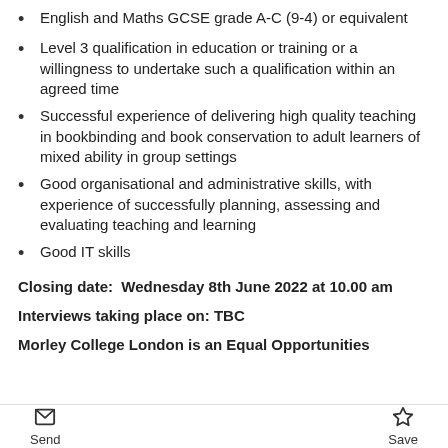English and Maths GCSE grade A-C (9-4) or equivalent
Level 3 qualification in education or training or a willingness to undertake such a qualification within an agreed time
Successful experience of delivering high quality teaching in bookbinding and book conservation to adult learners of mixed ability in group settings
Good organisational and administrative skills, with experience of successfully planning, assessing and evaluating teaching and learning
Good IT skills
Closing date:  Wednesday 8th June 2022 at 10.00 am
Interviews taking place on: TBC
Morley College London is an Equal Opportunities
Send  Save